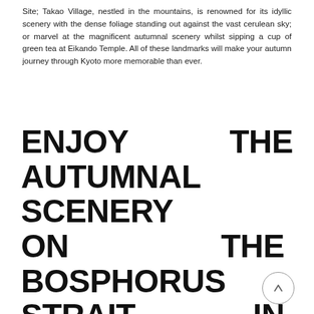Site; Takao Village, nestled in the mountains, is renowned for its idyllic scenery with the dense foliage standing out against the vast cerulean sky; or marvel at the magnificent autumnal scenery whilst sipping a cup of green tea at Eikando Temple. All of these landmarks will make your autumn journey through Kyoto more memorable than ever.
ENJOY THE AUTUMNAL SCENERY ON THE BOSPHORUS STRAIT IN ISTANBUL, TURKEY